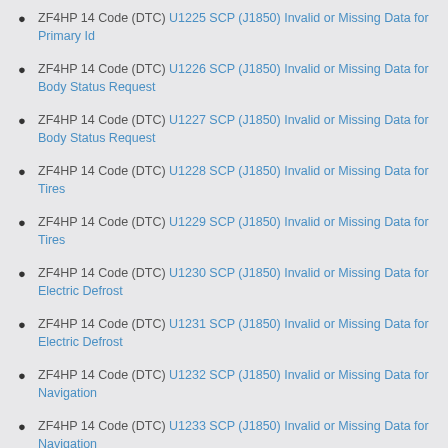ZF4HP 14 Code (DTC) U1225 SCP (J1850) Invalid or Missing Data for Primary Id
ZF4HP 14 Code (DTC) U1226 SCP (J1850) Invalid or Missing Data for Body Status Request
ZF4HP 14 Code (DTC) U1227 SCP (J1850) Invalid or Missing Data for Body Status Request
ZF4HP 14 Code (DTC) U1228 SCP (J1850) Invalid or Missing Data for Tires
ZF4HP 14 Code (DTC) U1229 SCP (J1850) Invalid or Missing Data for Tires
ZF4HP 14 Code (DTC) U1230 SCP (J1850) Invalid or Missing Data for Electric Defrost
ZF4HP 14 Code (DTC) U1231 SCP (J1850) Invalid or Missing Data for Electric Defrost
ZF4HP 14 Code (DTC) U1232 SCP (J1850) Invalid or Missing Data for Navigation
ZF4HP 14 Code (DTC) U1233 SCP (J1850) Invalid or Missing Data for Navigation
ZF4HP 14 Code (DTC) U1234 SCP (J1850) Invalid or Missing Data for Displays
ZF4HP 14 Code (DTC) U1235 SCP (J1850) Invalid or Missing Data for Displays